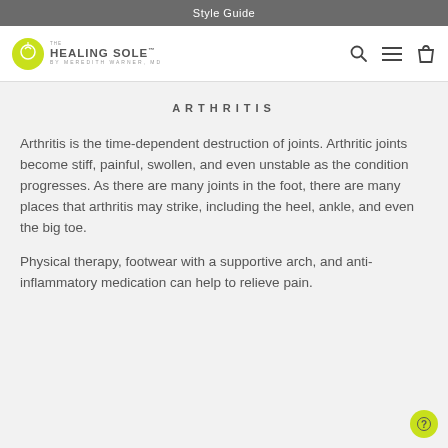Style Guide
[Figure (logo): The Healing Sole by Meredith Warner, MD logo with a circular green emblem and navigation icons (search, menu, cart)]
ARTHRITIS
Arthritis is the time-dependent destruction of joints. Arthritic joints become stiff, painful, swollen, and even unstable as the condition progresses. As there are many joints in the foot, there are many places that arthritis may strike, including the heel, ankle, and even the big toe.
Physical therapy, footwear with a supportive arch, and anti-inflammatory medication can help to relieve pain.